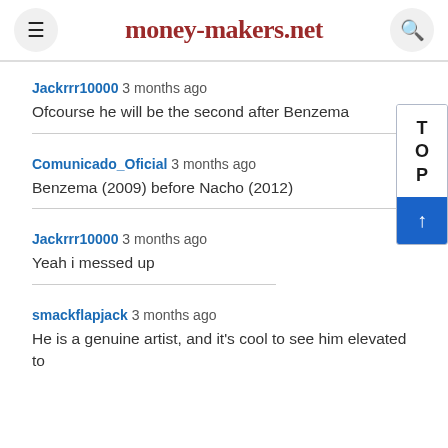money-makers.net
Jackrrr10000 3 months ago
Ofcourse he will be the second after Benzema
Comunicado_Oficial 3 months ago
Benzema (2009) before Nacho (2012)
Jackrrr10000 3 months ago
Yeah i messed up
smackflapjack 3 months ago
He is a genuine artist, and it's cool to see him elevated to